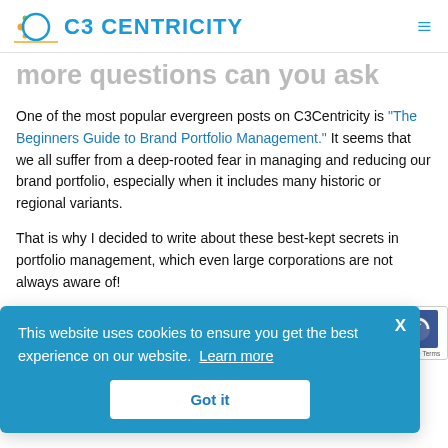C3 CENTRICITY
more questions can you ask
One of the most popular evergreen posts on C3Centricity is "The Beginners Guide to Brand Portfolio Management." It seems that we all suffer from a deep-rooted fear in managing and reducing our brand portfolio, especially when it includes many historic or regional variants.
That is why I decided to write about these best-kept secrets in portfolio management, which even large corporations are not always aware of!
[Figure (screenshot): Cookie consent banner with blue background reading 'This website uses cookies to ensure you get the best experience on our website. Learn more' and a 'Got it' button. An X close button is in the top right. A reCAPTCHA widget is partially visible to the right.]
hoice, s a powerful concept  popularised by Barry Schwartz.